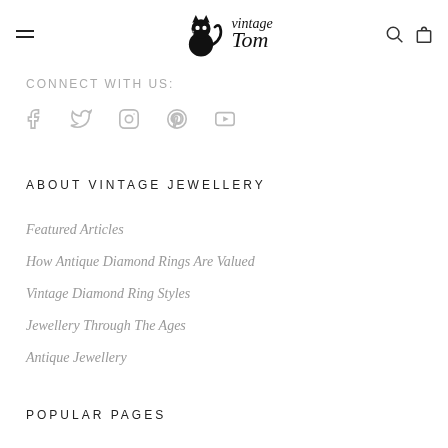[Figure (logo): Vintage Tom logo with black cat silhouette and stylized italic text 'vintage Tom']
CONNECT WITH US:
[Figure (other): Social media icons row: Facebook, Twitter, Instagram, Pinterest, YouTube]
ABOUT VINTAGE JEWELLERY
Featured Articles
How Antique Diamond Rings Are Valued
Vintage Diamond Ring Styles
Jewellery Through The Ages
Antique Jewellery
POPULAR PAGES